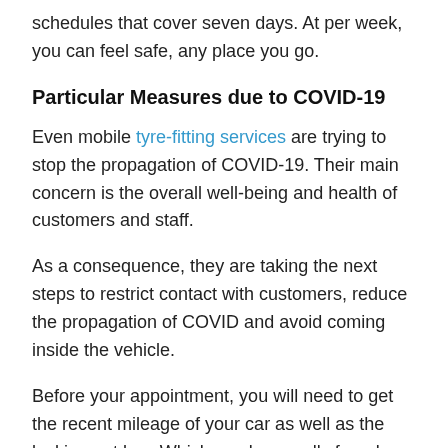schedules that cover seven days. At per week, you can feel safe, any place you go.
Particular Measures due to COVID-19
Even mobile tyre-fitting services are trying to stop the propagation of COVID-19. Their main concern is the overall well-being and health of customers and staff.
As a consequence, they are taking the next steps to restrict contact with customers, reduce the propagation of COVID and avoid coming inside the vehicle.
Before your appointment, you will need to get the recent mileage of your car as well as the locking nut key. Which can be usually found either inside the glove